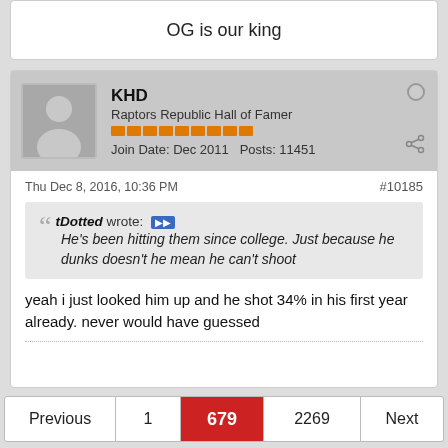OG is our king
KHD
Raptors Republic Hall of Famer
Join Date: Dec 2011  Posts: 11451
Thu Dec 8, 2016, 10:36 PM
#10185
tDotted wrote: He's been hitting them since college. Just because he dunks doesn't he mean he can't shoot
yeah i just looked him up and he shot 34% in his first year already. never would have guessed
Previous  1  679  2269  Next